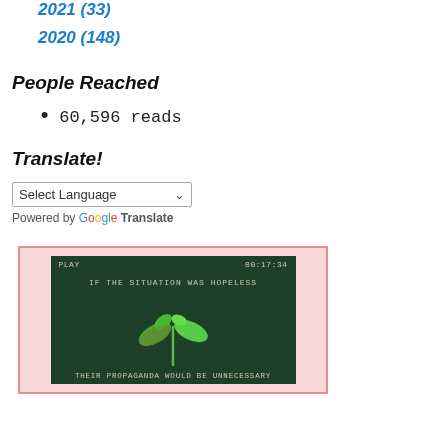2021 (33)
2020 (148)
People Reached
60,596 reads
Translate!
Select Language (dropdown) — Powered by Google Translate
[Figure (screenshot): Screenshot of a video player showing a dark green background with a seedling plant, overlay text reading 'IF THE SITUATION WAS HOPELESS' at top and 'THEIR PROPAGANDA WOULD BE UNNECESSARY' at bottom. Top bar shows 'PLAY' on left and '00:17:34' on right.]